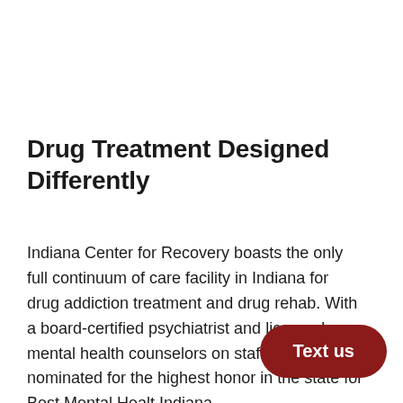Drug Treatment Designed Differently
Indiana Center for Recovery boasts the only full continuum of care facility in Indiana for drug addiction treatment and drug rehab. With a board-certified psychiatrist and licensed mental health counselors on staff, we were nominated for the highest honor in the state for Best Mental Health Indiana.